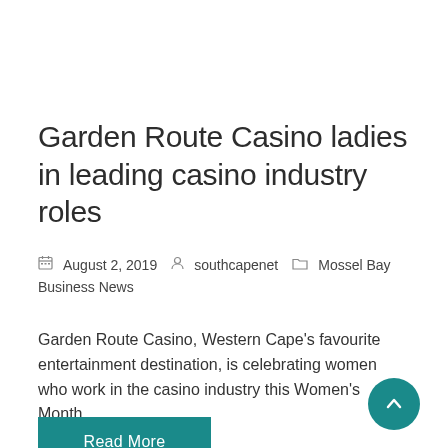Garden Route Casino ladies in leading casino industry roles
August 2, 2019   southcapenet   Mossel Bay Business News
Garden Route Casino, Western Cape's favourite entertainment destination, is celebrating women who work in the casino industry this Women's Month....
Read More